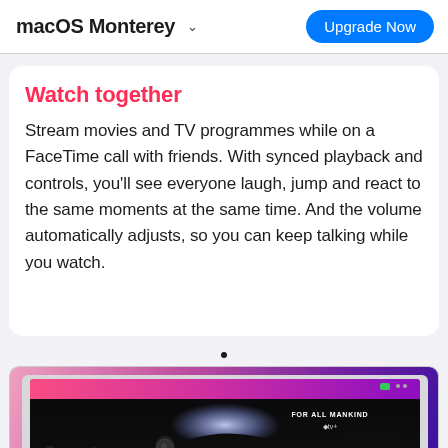macOS Monterey  Upgrade Now
Watch together
Stream movies and TV programmes while on a FaceTime call with friends. With synced playback and controls, you’ll see everyone laugh, jump and react to the same moments at the same time. And the volume automatically adjusts, so you can keep talking while you watch.
[Figure (screenshot): Screenshot of a MacBook showing the Apple TV app playing 'For All Mankind' — a sci-fi show with astronauts on the moon surface against a dark background, with a pink/purple gradient app frame visible.]